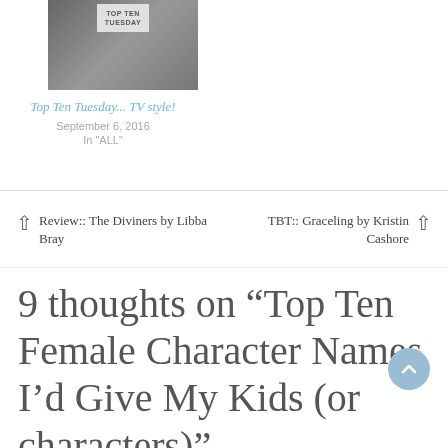[Figure (photo): Black and white image showing a person with a book or card, with a diamond-shaped badge reading TOP TEN TUESDAY]
Top Ten Tuesday... TV style!
September 6, 2016
In "ALL"
Review:: The Diviners by Libba Bray
TBT:: Graceling by Kristin Cashore
9 thoughts on “Top Ten Female Character Names I’d Give My Kids (or characters)”